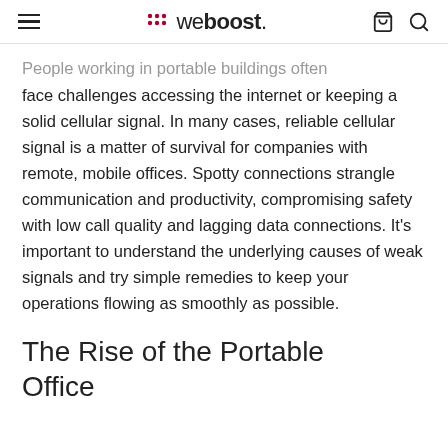we boost
People working in portable buildings often face challenges accessing the internet or keeping a solid cellular signal. In many cases, reliable cellular signal is a matter of survival for companies with remote, mobile offices. Spotty connections strangle communication and productivity, compromising safety with low call quality and lagging data connections. It's important to understand the underlying causes of weak signals and try simple remedies to keep your operations flowing as smoothly as possible.
The Rise of the Portable Office